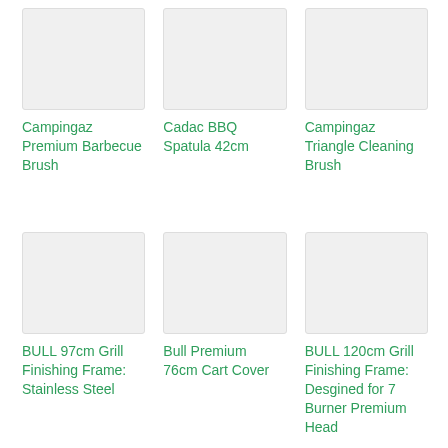[Figure (photo): Product image placeholder for Campingaz Premium Barbecue Brush]
Campingaz Premium Barbecue Brush
[Figure (photo): Product image placeholder for Cadac BBQ Spatula 42cm]
Cadac BBQ Spatula 42cm
[Figure (photo): Product image placeholder for Campingaz Triangle Cleaning Brush]
Campingaz Triangle Cleaning Brush
[Figure (photo): Product image placeholder for BULL 97cm Grill Finishing Frame: Stainless Steel]
BULL 97cm Grill Finishing Frame: Stainless Steel
[Figure (photo): Product image placeholder for Bull Premium 76cm Cart Cover]
Bull Premium 76cm Cart Cover
[Figure (photo): Product image placeholder for BULL 120cm Grill Finishing Frame: Desgined for 7 Burner Premium Head]
BULL 120cm Grill Finishing Frame: Desgined for 7 Burner Premium Head